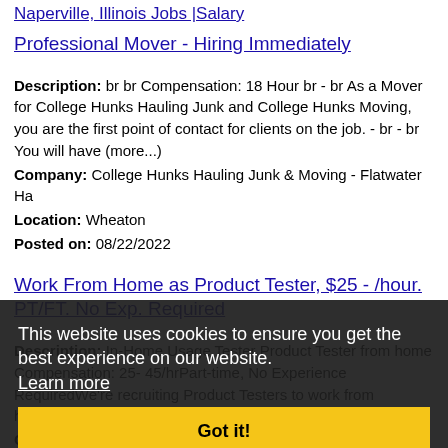Naperville, Illinois Jobs |Salary
Professional Mover - Hiring Immediately
Description: br br Compensation: 18 Hour br - br As a Mover for College Hunks Hauling Junk and College Hunks Moving, you are the first point of contact for clients on the job. - br - br You will have (more...)
Company: College Hunks Hauling Junk & Moving - Flatwater Ha
Location: Wheaton
Posted on: 08/22/2022
Work From Home as Product Tester, $25 - /hour. PT/FT. No Exp. Required
Description: In-Home Usage Tester Product Tester from home Compensation: 25- 45/hrPart-time, No Experience RequiredWe're recruiting Product Testers to work from home,nationwide in the US to fulfill...
Company: American Consumer Panels
Location: Wheaton
Posted on: 08/22/2022
[Figure (screenshot): Cookie consent overlay with dark background. Text: 'This website uses cookies to ensure you get the best experience on our website.' with 'Learn more' link and 'Got it!' yellow button.]
After school Sitter Needed In Wheaton Area (flexible Days)
Description: I'm looking for a great babysitter for 3 children from 3 p.m. until about 6 p.m., two or three days per week. We could